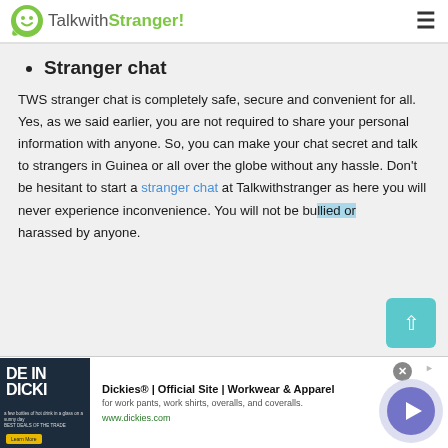TalkwithStranger!
Stranger chat
TWS stranger chat is completely safe, secure and convenient for all. Yes, as we said earlier, you are not required to share your personal information with anyone. So, you can make your chat secret and talk to strangers in Guinea or all over the globe without any hassle. Don't be hesitant to start a stranger chat at Talkwithstranger as here you will never experience inconvenience. You will not be bullied or harassed by anyone.
[Figure (infographic): Dickies advertisement banner showing 'DE IN DICKI' text on dark background with workwear image, ad title 'Dickies® | Official Site | Workwear & Apparel', description 'for work pants, work shirts, overalls, and coveralls.', URL 'www.dickies.com', with navigation arrow circle on right]